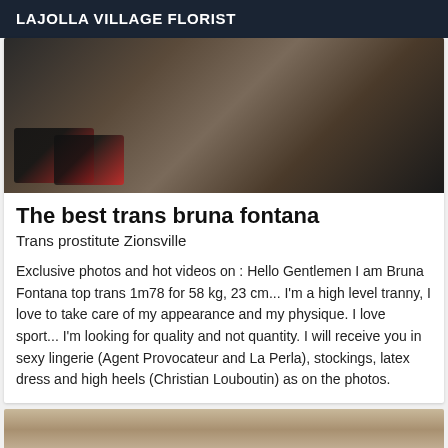LAJOLLA VILLAGE FLORIST
[Figure (photo): Photo of a trans woman in lingerie and high heels on a bed]
The best trans bruna fontana
Trans prostitute Zionsville
Exclusive photos and hot videos on : Hello Gentlemen I am Bruna Fontana top trans 1m78 for 58 kg, 23 cm... I'm a high level tranny, I love to take care of my appearance and my physique. I love sport... I'm looking for quality and not quantity. I will receive you in sexy lingerie (Agent Provocateur and La Perla), stockings, latex dress and high heels (Christian Louboutin) as on the photos.
[Figure (photo): Partial photo visible at bottom of page]